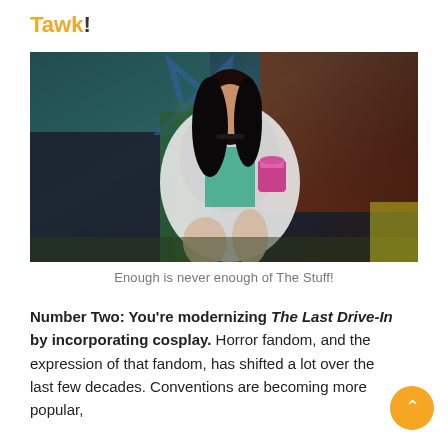Tawk!
[Figure (photo): A woman with dark hair wearing a white fur coat and green top, holding a container labeled 'The Stuff', seated in a colorful retro-styled setting.]
Enough is never enough of The Stuff!
Number Two: You're modernizing The Last Drive-In by incorporating cosplay. Horror fandom, and the expression of that fandom, has shifted a lot over the last few decades. Conventions are becoming more popular,